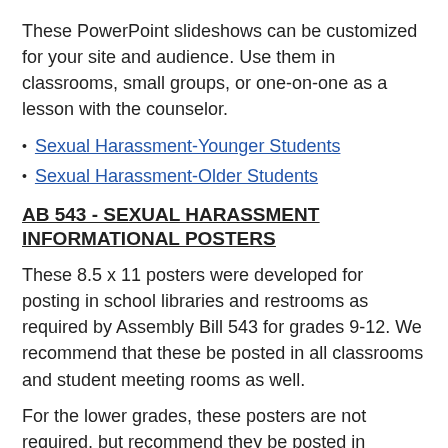These PowerPoint slideshows can be customized for your site and audience. Use them in classrooms, small groups, or one-on-one as a lesson with the counselor.
Sexual Harassment-Younger Students
Sexual Harassment-Older Students
AB 543 - SEXUAL HARASSMENT INFORMATIONAL POSTERS
These 8.5 x 11 posters were developed for posting in school libraries and restrooms as required by Assembly Bill 543 for grades 9-12. We recommend that these be posted in all classrooms and student meeting rooms as well.
For the lower grades, these posters are not required, but recommend they be posted in libraries, restrooms, classrooms, student meeting rooms, etc.
Grades 9-12 Sexual Harassment Poster (Spanish)